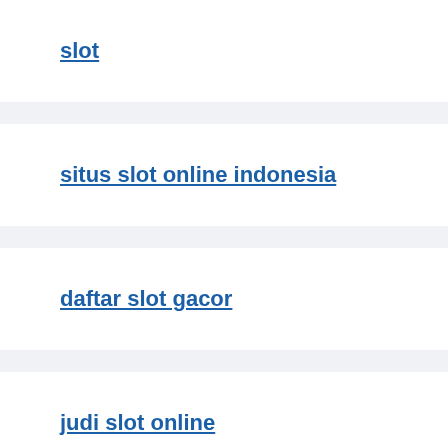slot
situs slot online indonesia
daftar slot gacor
judi slot online